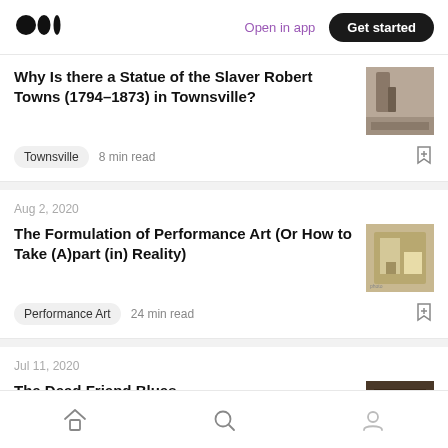Medium logo | Open in app | Get started
Why Is there a Statue of the Slaver Robert Towns (1794–1873) in Townsville?
Townsville   8 min read
Aug 2, 2020
The Formulation of Performance Art (Or How to Take (A)part (in) Reality)
Performance Art   24 min read
Jul 11, 2020
The Dead Friend Blues
Home | Search | Profile